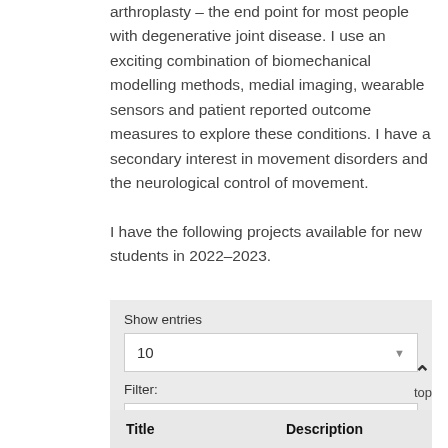arthroplasty – the end point for most people with degenerative joint disease. I use an exciting combination of biomechanical modelling methods, medial imaging, wearable sensors and patient reported outcome measures to explore these conditions. I have a secondary interest in movement disorders and the neurological control of movement.
I have the following projects available for new students in 2022–2023.
Show entries
10
Filter:
filter by keyword...
top
| Title | Description |
| --- | --- |